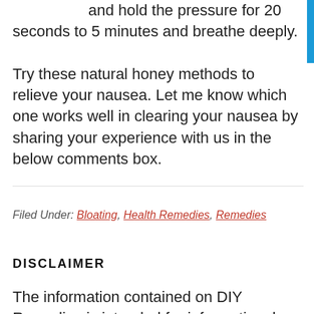and hold the pressure for 20 seconds to 5 minutes and breathe deeply.
Try these natural honey methods to relieve your nausea. Let me know which one works well in clearing your nausea by sharing your experience with us in the below comments box.
Filed Under: Bloating, Health Remedies, Remedies
DISCLAIMER
The information contained on DIY Remedies is intended for informational